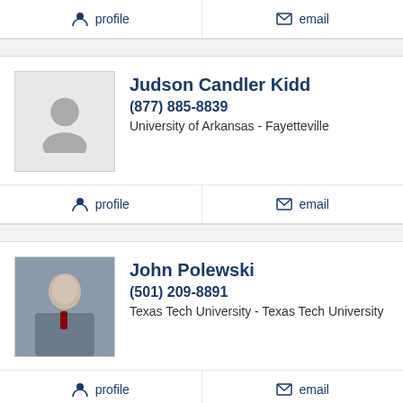profile | email
Judson Candler Kidd
(877) 885-8839
University of Arkansas - Fayetteville
profile | email
John Polewski
(501) 209-8891
Texas Tech University - Texas Tech University
profile | email
Marc E. Stewart